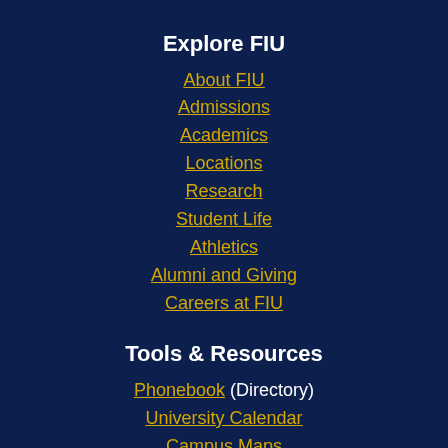Explore FIU
About FIU
Admissions
Academics
Locations
Research
Student Life
Athletics
Alumni and Giving
Careers at FIU
Tools & Resources
Phonebook (Directory)
University Calendar
Campus Maps
MyFIU
Canvas